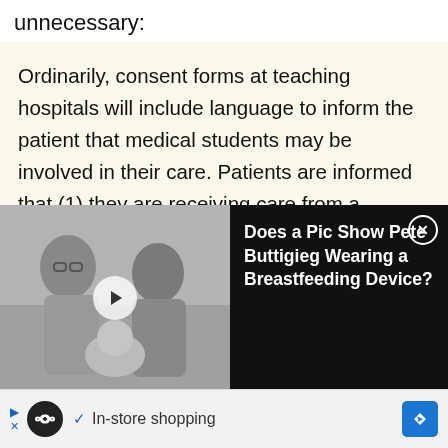unnecessary:
Ordinarily, consent forms at teaching hospitals will include language to inform the patient that medical students may be involved in their care. Patients are informed that (1) they are receiving care from a teaching hospital and (2) that medical students may be involved in their care ... But there are cases where an instructor or attending doctor
[Figure (screenshot): Video thumbnail showing two men holding a baby, black and white photo, with a play button overlay. Adjacent dark panel reads: Does a Pic Show Pete Buttigieg Wearing a Breastfeeding Device?]
[Figure (screenshot): Advertisement banner with infinity loop icon, checkmark, 'In-store shopping' text, and a blue navigation arrow icon.]